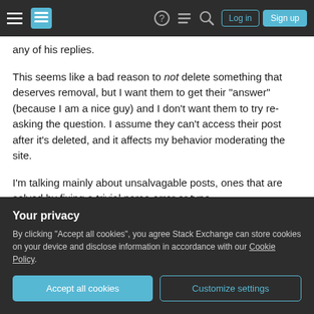Stack Exchange navigation bar with logo, icons, Log in and Sign up buttons
any of his replies.
This seems like a bad reason to not delete something that deserves removal, but I want them to get their "answer" (because I am a nice guy) and I don't want them to try re-asking the question. I assume they can't access their post after it's deleted, and it affects my behavior moderating the site.
I'm talking mainly about unsalvagable posts, ones that are solved by fixing a trivial parse error or typo
Your privacy
By clicking "Accept all cookies", you agree Stack Exchange can store cookies on your device and disclose information in accordance with our Cookie Policy.